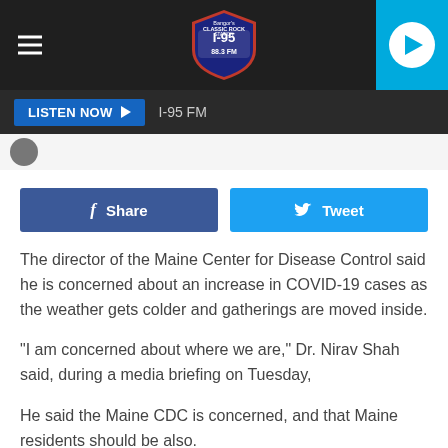[Figure (screenshot): Website header with dark honeycomb-pattern background, hamburger menu icon on left, I-95 FM Classic Rock shield logo in center, and blue play button on right]
[Figure (screenshot): Dark bar with 'LISTEN NOW' button in blue and 'I-95 FM' station label in grey]
[Figure (screenshot): Facebook Share button (dark blue) and Twitter Tweet button (light blue) side by side]
The director of the Maine Center for Disease Control said he is concerned about an increase in COVID-19 cases as the weather gets colder and gatherings are moved inside.
"I am concerned about where we are," Dr. Nirav Shah said, during a media briefing on Tuesday,
He said the Maine CDC is concerned, and that Maine residents should be also.